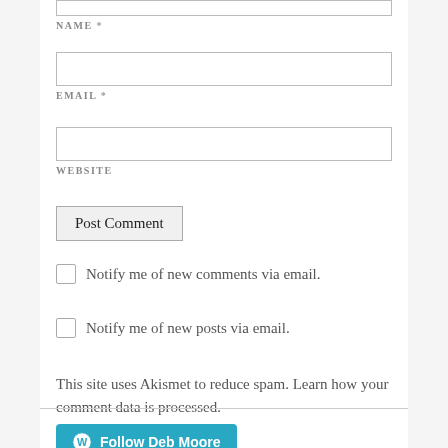NAME *
EMAIL *
WEBSITE
Post Comment
Notify me of new comments via email.
Notify me of new posts via email.
This site uses Akismet to reduce spam. Learn how your comment data is processed.
[Figure (other): Follow Deb Moore button with WordPress logo]